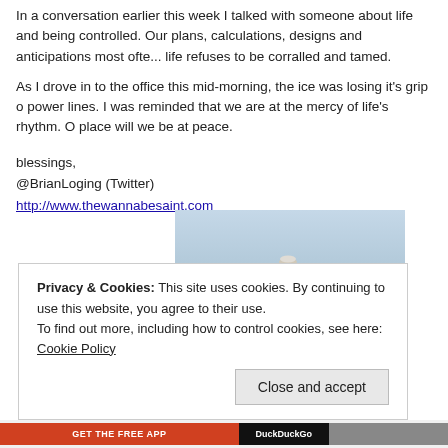In a conversation earlier this week I talked with someone about life and being controlled. Our plans, calculations, designs and anticipations most often... life refuses to be corralled and tamed.
As I drove in to the office this mid-morning, the ice was losing it's grip on the power lines. I was reminded that we are at the mercy of life's rhythm. Only in that place will we be at peace.
blessings,
@BrianLoging (Twitter)
http://www.thewannabesaint.com
[Figure (photo): A stack of smooth white and grey zen stones balanced on top of each other, against a blurred blue sky and water background.]
Privacy & Cookies: This site uses cookies. By continuing to use this website, you agree to their use. To find out more, including how to control cookies, see here: Cookie Policy
Close and accept